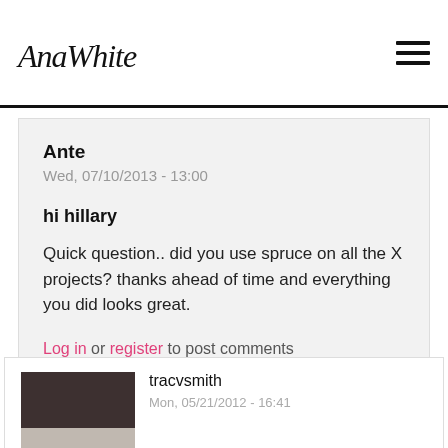AnaWhite
Ante
Wed, 07/10/2013 - 13:00

hi hillary

Quick question.. did you use spruce on all the X projects? thanks ahead of time and everything you did looks great.

Log in or register to post comments
tracvsmith
Mon, 05/21/2012 - 16:41